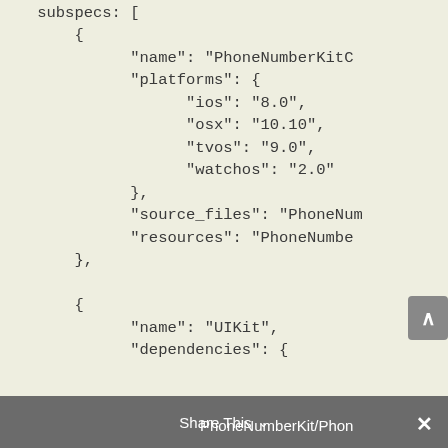subspecs: [
    {
        "name": "PhoneNumberKitC
        "platforms": {
            "ios": "8.0",
            "osx": "10.10",
            "tvos": "9.0",
            "watchos": "2.0"
        },
        "source_files": "PhoneNum
        "resources": "PhoneNumbe
    },
    {
        "name": "UIKit",
        "dependencies": {
Share This  PhoneNumberKit/Phon